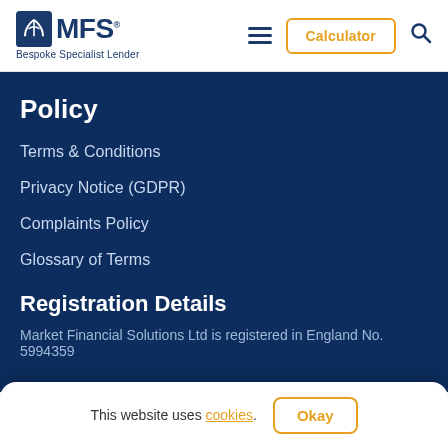MFS - Bespoke Specialist Lender | Calculator
Policy
Terms & Conditions
Privacy Notice (GDPR)
Complaints Policy
Glossary of Terms
Registration Details
Market Financial Solutions Ltd is registered in England No. 5994359
This website uses cookies. Okay